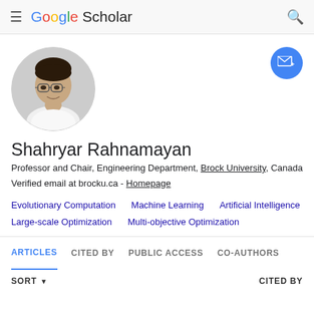Google Scholar
[Figure (photo): Circular profile photo of Shahryar Rahnamayan, a man with glasses and dark hair wearing a white shirt]
Shahryar Rahnamayan
Professor and Chair, Engineering Department, Brock University, Canada
Verified email at brocku.ca - Homepage
Evolutionary Computation
Machine Learning
Artificial Intelligence
Large-scale Optimization
Multi-objective Optimization
ARTICLES  CITED BY  PUBLIC ACCESS  CO-AUTHORS
SORT  CITED BY